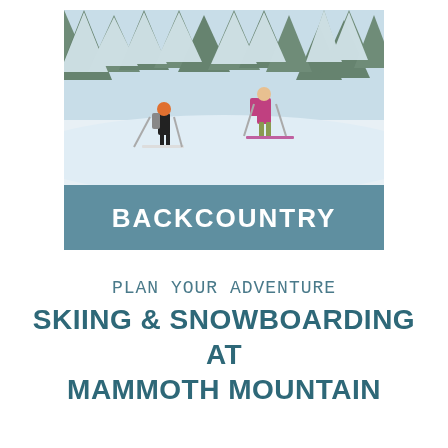[Figure (photo): Two skiers with backpacks skiing through a snowy forest with snow-covered pine trees at Mammoth Mountain backcountry]
BACKCOUNTRY
PLAN YOUR ADVENTURE
SKIING & SNOWBOARDING AT MAMMOTH MOUNTAIN